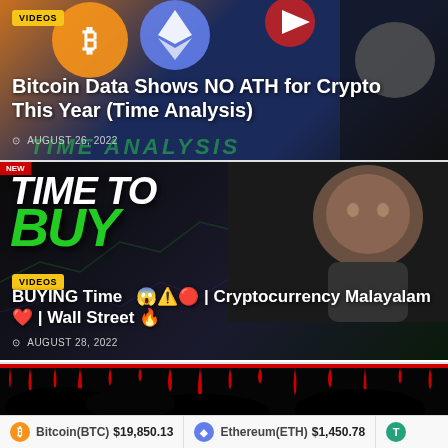[Figure (screenshot): Video thumbnail for 'Bitcoin Data Shows NO ATH for Crypto This Year (Time Analysis)' with crypto logos and dark background]
VIDEOS
Bitcoin Data Shows NO ATH for Crypto This Year (Time Analysis)
AUGUST 26, 2022
[Figure (screenshot): Video thumbnail showing 'TIME TO BUY' text with green letters, man pointing, dark background]
VIDEOS
BUYING Time 😱⚠️🔴 | Cryptocurrency Malayalam ❤️ | Wall Street 🔥
AUGUST 28, 2022
[Figure (screenshot): Dark thumbnail with red dripping blood-like elements at top]
Bitcoin(BTC) $19,850.13   Ethereum(ETH) $1,450.78   T
Bitcoin(BTC) $19,850.13
Ethereum(ETH) $1,450.78